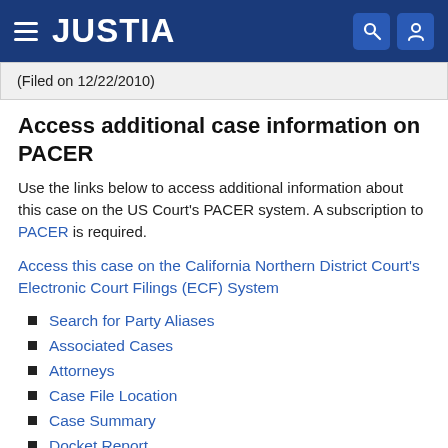JUSTIA
(Filed on 12/22/2010)
Access additional case information on PACER
Use the links below to access additional information about this case on the US Court's PACER system. A subscription to PACER is required.
Access this case on the California Northern District Court's Electronic Court Filings (ECF) System
Search for Party Aliases
Associated Cases
Attorneys
Case File Location
Case Summary
Docket Report